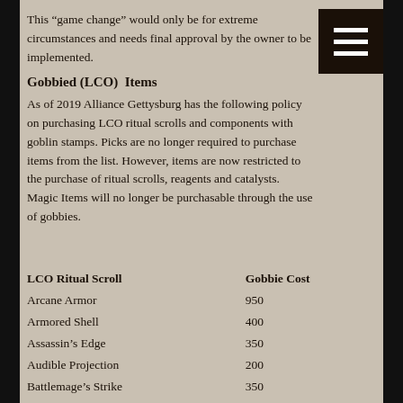This “game change” would only be for extreme circumstances and needs final approval by the owner to be implemented.
Gobbied (LCO)  Items
As of 2019 Alliance Gettysburg has the following policy on purchasing LCO ritual scrolls and components with goblin stamps. Picks are no longer required to purchase items from the list. However, items are now restricted to the purchase of ritual scrolls, reagents and catalysts. Magic Items will no longer be purchasable through the use of gobbies.
| LCO Ritual Scroll | Gobbie Cost |
| --- | --- |
| Arcane Armor | 950 |
| Armored Shell | 400 |
| Assassin’s Edge | 350 |
| Audible Projection | 200 |
| Battlemage’s Strike | 350 |
| Blissful Rest | 75 |